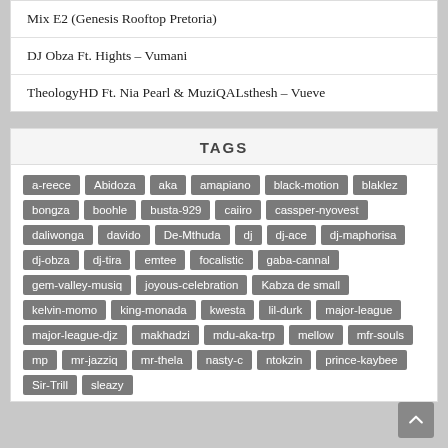Mix E2 (Genesis Rooftop Pretoria)
DJ Obza Ft. Hights – Vumani
TheologyHD Ft. Nia Pearl & MuziQALsthesh – Vueve
TAGS
a-reece, Abidoza, aka, amapiano, black-motion, blaklez, bongza, boohle, busta-929, caiiro, cassper-nyovest, daliwonga, davido, De-Mthuda, dj, dj-ace, dj-maphorisa, dj-obza, dj-tira, emtee, focalistic, gaba-cannal, gem-valley-musiq, joyous-celebration, Kabza de small, kelvin-momo, king-monada, kwesta, lil-durk, major-league, major-league-djz, makhadzi, mdu-aka-trp, mellow, mfr-souls, mp, mr-jazziq, mr-thela, nasty-c, ntokzin, prince-kaybee, Sir-Trill, sleazy